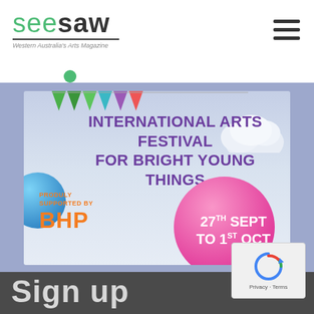seesaw — Western Australia's Arts Magazine
[Figure (illustration): Festival advertisement banner for an International Arts Festival for Bright Young Things, proudly supported by BHP. Dates: 27th Sept to 1st Oct. Features colorful balloons, bunting, clouds on a light blue sky background.]
Sign up